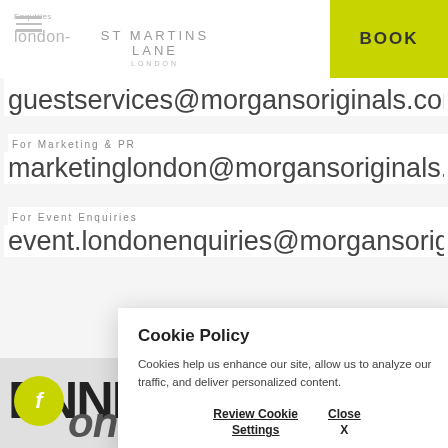ST MARTINS LANE LONDON | BOOK
guestservices@morgansoriginals.com
For Marketing & PR
marketinglondon@morgansoriginals.com
For Event Enquiries
event.londonenquiries@morgansoriginals.com
Cookie Policy

Cookies help us enhance our site, allow us to analyze our traffic, and deliver personalized content.

Review Cookie Settings | Close X